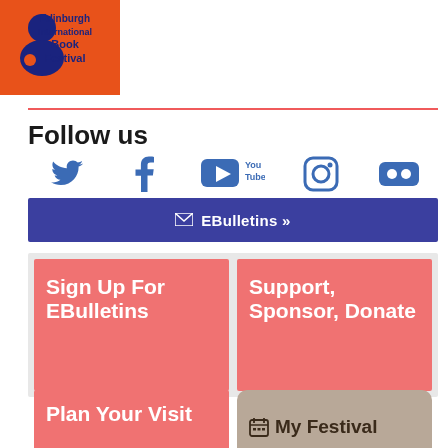[Figure (logo): Edinburgh International Book Festival logo — orange/red background with blue figure and text]
Follow us
[Figure (infographic): Social media icons row: Twitter, Facebook, YouTube, Instagram, Flickr — all in dark blue]
✉ EBulletins »
Sign Up For EBulletins
Support, Sponsor, Donate
Plan Your Visit
📅 My Festival